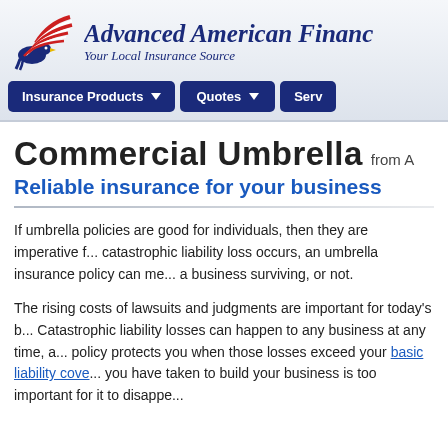[Figure (logo): Advanced American Finance logo with eagle/wing graphic in red, white and blue, with company name in dark blue italic script and tagline 'Your Local Insurance Source']
Insurance Products ▾   Quotes ▾   Serv...
Commercial Umbrella from A...
Reliable insurance for your business
If umbrella policies are good for individuals, then they are imperative f... catastrophic liability loss occurs, an umbrella insurance policy can me... a business surviving, or not.
The rising costs of lawsuits and judgments are important for today's b... Catastrophic liability losses can happen to any business at any time, a... policy protects you when those losses exceed your basic liability cove... you have taken to build your business is too important for it to disappe...